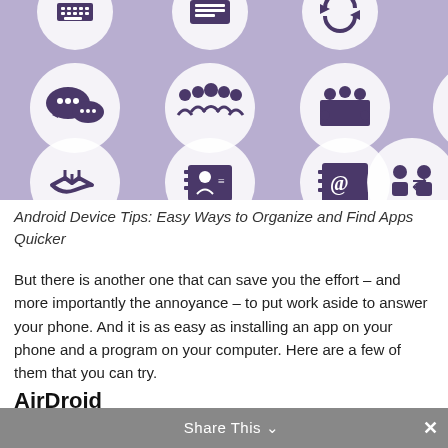[Figure (illustration): Purple background with two rows of circular icons representing various business/communication functions: chat bubbles, group of people, conference table, network/hierarchy, presenter at board, handshake, phone book, contact card, email/at symbol book, person transfer.]
Android Device Tips: Easy Ways to Organize and Find Apps Quicker
But there is another one that can save you the effort – and more importantly the annoyance – to put work aside to answer your phone. And it is as easy as installing an app on your phone and a program on your computer. Here are a few of them that you can try.
AirDroid
Share This ∨  ✕